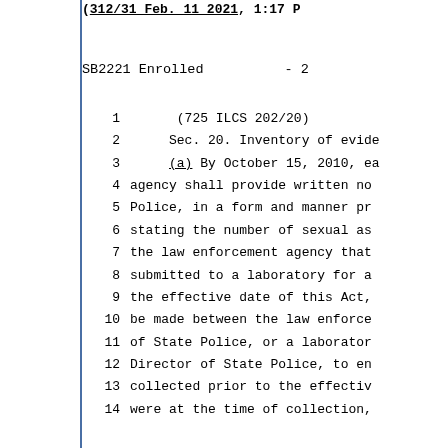(continuation of prior text)
SB2221 Enrolled        - 2
1      (725 ILCS 202/20)
2      Sec. 20. Inventory of evide
3      (a) By October 15, 2010, ea
4  agency shall provide written no
5  Police, in a form and manner pr
6  stating the number of sexual as
7  the law enforcement agency that
8  submitted to a laboratory for a
9  the effective date of this Act,
10 be made between the law enforce
11 of State Police, or a laborator
12 Director of State Police, to en
13 collected prior to the effectiv
14 were at the time of collection,